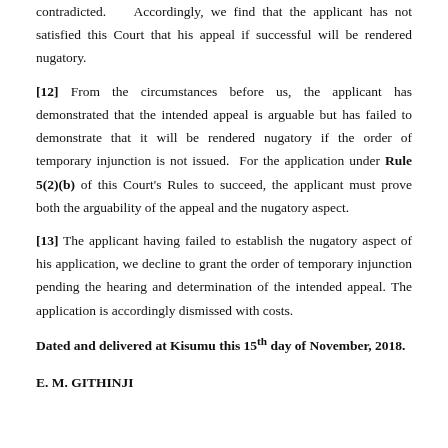contradicted. Accordingly, we find that the applicant has not satisfied this Court that his appeal if successful will be rendered nugatory.
[12] From the circumstances before us, the applicant has demonstrated that the intended appeal is arguable but has failed to demonstrate that it will be rendered nugatory if the order of temporary injunction is not issued. For the application under Rule 5(2)(b) of this Court's Rules to succeed, the applicant must prove both the arguability of the appeal and the nugatory aspect.
[13] The applicant having failed to establish the nugatory aspect of his application, we decline to grant the order of temporary injunction pending the hearing and determination of the intended appeal. The application is accordingly dismissed with costs.
Dated and delivered at Kisumu this 15th day of November, 2018.
E. M. GITHINJI